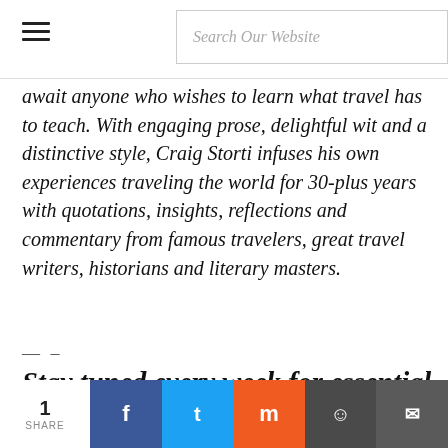Search Our Website
await anyone who wishes to learn what travel has to teach. With engaging prose, delightful wit and a distinctive style, Craig Storti infuses his own experiences traveling the world for 30-plus years with quotations, insights, reflections and commentary from famous travelers, great travel writers, historians and literary masters.
— –
Stay tuned every week for essential ebook deals !!!
1 SHARE